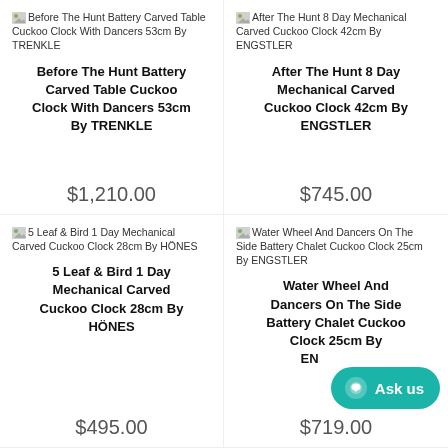Before The Hunt Battery Carved Table Cuckoo Clock With Dancers 53cm By TRENKLE
Before The Hunt Battery Carved Table Cuckoo Clock With Dancers 53cm By TRENKLE
$1,210.00
After The Hunt 8 Day Mechanical Carved Cuckoo Clock 42cm By ENGSTLER
After The Hunt 8 Day Mechanical Carved Cuckoo Clock 42cm By ENGSTLER
$745.00
5 Leaf & Bird 1 Day Mechanical Carved Cuckoo Clock 28cm By HÖNES
5 Leaf & Bird 1 Day Mechanical Carved Cuckoo Clock 28cm By HÖNES
$495.00
Water Wheel And Dancers On The Side Battery Chalet Cuckoo Clock 25cm By ENGSTLER
Water Wheel And Dancers On The Side Battery Chalet Cuckoo Clock 25cm By ENGSTLER
$719.00